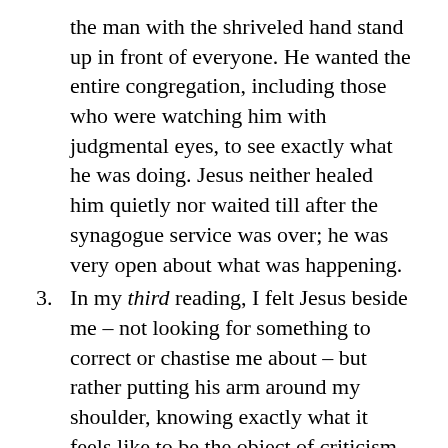the man with the shriveled hand stand up in front of everyone. He wanted the entire congregation, including those who were watching him with judgmental eyes, to see exactly what he was doing. Jesus neither healed him quietly nor waited till after the synagogue service was over; he was very open about what was happening.
In my third reading, I felt Jesus beside me – not looking for something to correct or chastise me about – but rather putting his arm around my shoulder, knowing exactly what it feels like to be the object of criticism, scorn, and malevolent plotting against. I sense my solidarity with Christ, my union with him,